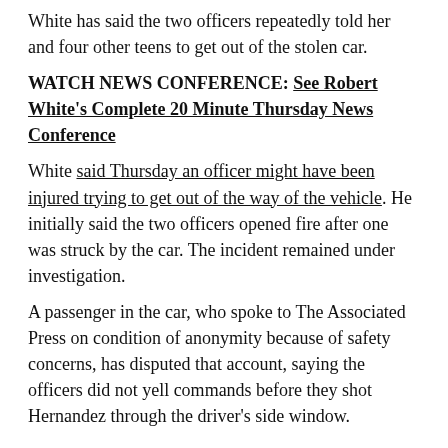White has said the two officers repeatedly told her and four other teens to get out of the stolen car.
WATCH NEWS CONFERENCE: See Robert White's Complete 20 Minute Thursday News Conference
White said Thursday an officer might have been injured trying to get out of the way of the vehicle. He initially said the two officers opened fire after one was struck by the car. The incident remained under investigation.
A passenger in the car, who spoke to The Associated Press on condition of anonymity because of safety concerns, has disputed that account, saying the officers did not yell commands before they shot Hernandez through the driver's side window.